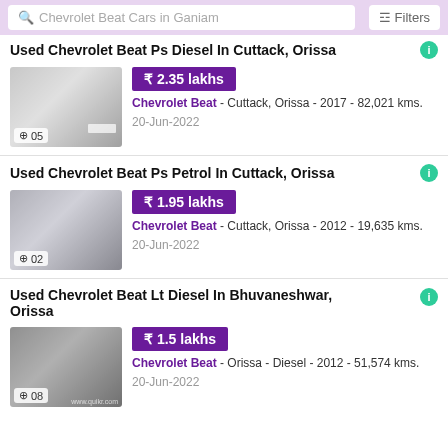Chevrolet Beat Cars in Ganiam | Filters
Used Chevrolet Beat Ps Diesel In Cuttack, Orissa
[Figure (photo): White Chevrolet Beat car, 05 photos]
₹ 2.35 lakhs
Chevrolet Beat - Cuttack, Orissa - 2017 - 82,021 kms.
20-Jun-2022
Used Chevrolet Beat Ps Petrol In Cuttack, Orissa
[Figure (photo): Silver Chevrolet Beat car, 02 photos]
₹ 1.95 lakhs
Chevrolet Beat - Cuttack, Orissa - 2012 - 19,635 kms.
20-Jun-2022
Used Chevrolet Beat Lt Diesel In Bhuvaneshwar, Orissa
[Figure (photo): Dark grey Chevrolet Beat car, 08 photos]
₹ 1.5 lakhs
Chevrolet Beat - Orissa - Diesel - 2012 - 51,574 kms.
20-Jun-2022